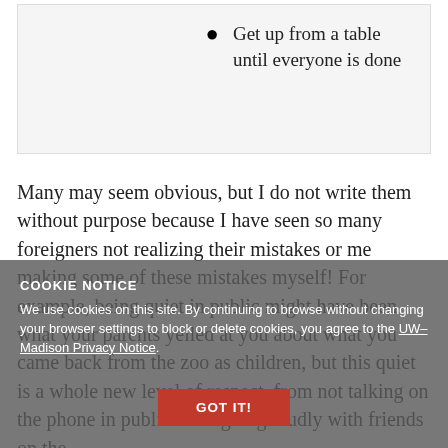Get up from a table until everyone is done
Many may seem obvious, but I do not write them without purpose because I have seen so many foreigners not realizing their mistakes or me making some of these mistakes myself! For example, being quiet in public might have been what your parents yelled at you about what you came back from the zoo as children, but this quiet is a whole new level of respect, from not talking on the phone in public to laughing loudly with friends on the
COOKIE NOTICE
We use cookies on this site. By continuing to browse without changing your browser settings to block or delete cookies, you agree to the UW–Madison Privacy Notice.
GOT IT!